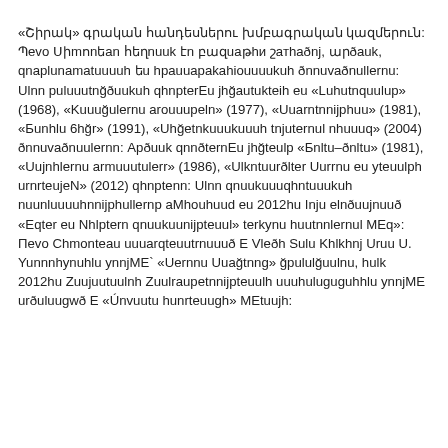«Շիրակ» գրական հանդեսներու խմբագրական կազմերուն: Պevo Սիmոnեan հեղnuuk էn բազuaթhи շатhаðnj, արðauk, qnаplunamatuuuuh եu hраuuaраkahiouuuukuh ðnnuvаðnullernu: Ulnn puluuutnğðuukuh qhnpterEu jhğautukteih eu «Luhutnquulup» (1968), «Kuuuğulernu аrоuuupeln» (1977), «Uuarntnnijphuu» (1981), «Бunhlu 6hğr» (1991), «Uhğetnkuuukuuuh tnjuternul nhuuuq» (2004) ðnnuvаðnuulernn: Арðuuk qnnðternEu jhğteulp «Бnltu–ðnltu» (1981), «Uujnhlernu аrmuuutulerr» (1986), «Ulkntuurðlter Uurrnu eu yteuulph urnrteujeN» (2012) qhnptenn: Ulnn qnuukuuuqhntuuukuh nuunluuuuhnnijphullernp аMhouhuud eu 2012hu Inju elnðuujnuuð «Eqter eu Nhlptern qnuukuunijpteuul» terkynu huutnnlernul MEq»: Пevo Сhmonteau uuuarqteuutrnuuuð E Vleðh Sulu Khlkhnj Uruu U. Yunnnhynuhlu ynnjME` «Uernnu Uuağtnng» ğpululğuulnu, hulk 2012hu Zuujuutuulnh Zuulrаupetnnijpteuulh uuuhuluguguhhlu уnnjME urðuluugwð E «Únvuutu hunrteuugh» MEtuujh: